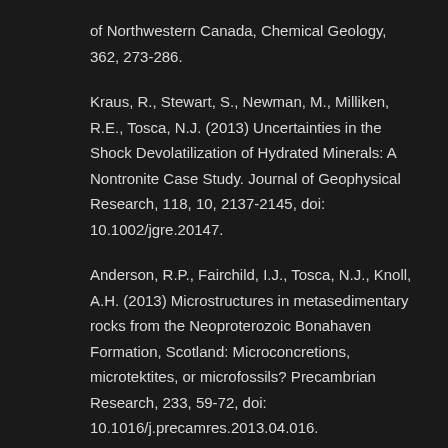of Northwestern Canada, Chemical Geology, 362, 273-286.
Kraus, R., Stewart, S., Newman, M., Milliken, R.E., Tosca, N.J. (2013) Uncertainties in the Shock Devolatilization of Hydrated Minerals: A Nontronite Case Study. Journal of Geophysical Research, 118, 10, 2137-2145, doi: 10.1002/jgre.20147.
Anderson, R.P., Fairchild, I.J., Tosca, N.J., Knoll, A.H. (2013) Microstructures in metasedimentary rocks from the Neoproterozoic Bonahaven Formation, Scotland: Microconcretions, microtektites, or microfossils? Precambrian Research, 233, 59-72, doi: 10.1016/j.precamres.2013.04.016.